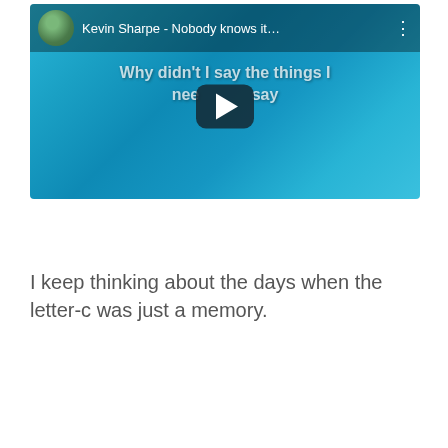[Figure (screenshot): YouTube video thumbnail showing Kevin Sharpe - Nobody knows it... with lyrics 'Why didn't I say the things I needed to say' overlaid on a blue water background, with a play button in the center.]
I keep thinking about the days when the letter-c was just a memory.